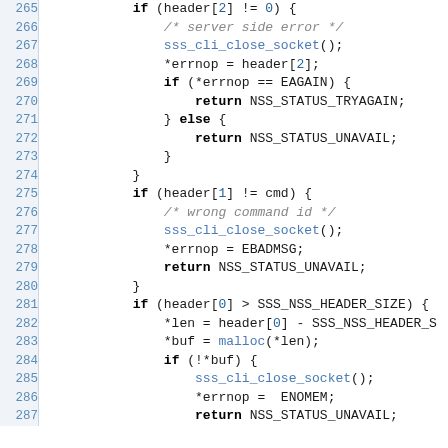[Figure (other): Source code listing showing lines 265-287 of C code with line numbers, keywords in bold, function calls in blue, and comments in gray italic]